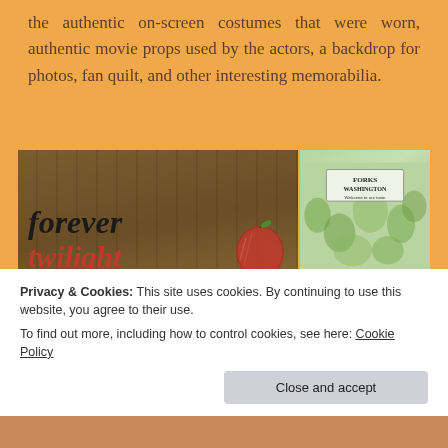the authentic on-screen costumes that were worn, authentic movie props used by the actors, a backdrop for photos, fan quilt, and other interesting memorabilia.
[Figure (photo): Left: wooden sign reading 'forever twilight in Forks' with a red apple illustration. Top right: Forks Washington illustrated map poster. Bottom right: Two women posing at a Twilight event backdrop.]
Privacy & Cookies: This site uses cookies. By continuing to use this website, you agree to their use.
To find out more, including how to control cookies, see here: Cookie Policy